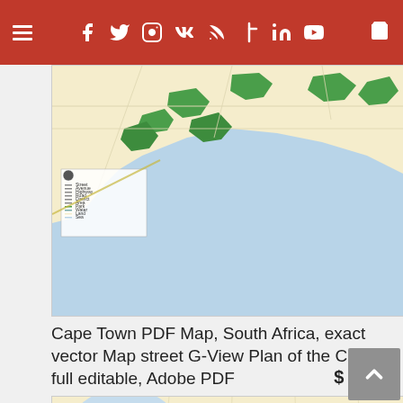Navigation bar with hamburger menu and social/share icons: Facebook, Twitter, Instagram, VK, RSS, Cross/Faith, LinkedIn, YouTube, Cart
[Figure (map): Cape Town city street map showing coastline, green park areas, streets and districts. Light yellow land with blue sea area (Atlantic Ocean). Small legend visible in lower left.]
Cape Town PDF Map, South Africa, exact vector Map street G-View Plan of the City full editable, Adobe PDF
$ 43.00
[Figure (map): Cape Town city street map showing harbor and urban areas, with green spaces, grey/purple industrial zones, streets and coastline. Light yellow land with blue sea. Arrow marker visible.]